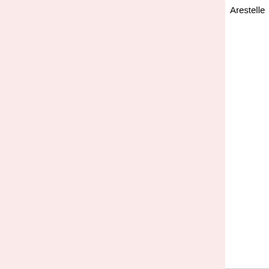| Name | Link | Description |
| --- | --- | --- |
| Arestelle | Arestelle [ext] | some possibles: Minds and Computers, by Matt Carther Introducing Artificial Intelligence, by Henry Brighton 1089 and All That, by David Acheson The Undercover Economist, by Tim Harford |
| Melanie ( MKI ) | Cynical Optimism [ext] | to start : Rebecca Skloot, The Immortal Life of Henrietta... |